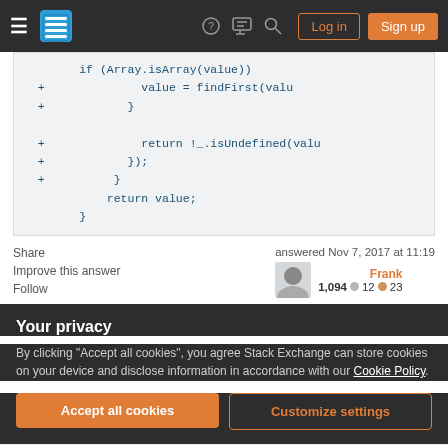Stack Exchange navigation bar with Log in and Sign up buttons
if (Array.isArray(value))
+ value = findFirst(valu
+ }

+ return !_.isUndefined(valu
+ });
+ }
    return value;
        }
Share    answered Nov 7, 2017 at 11:19
Improve this answer    Frank 1,094  12  23
Follow
Your privacy
By clicking "Accept all cookies", you agree Stack Exchange can store cookies on your device and disclose information in accordance with our Cookie Policy.
Accept all cookies
Customize settings
force": "override", "patches": { "magento/module-ui": {